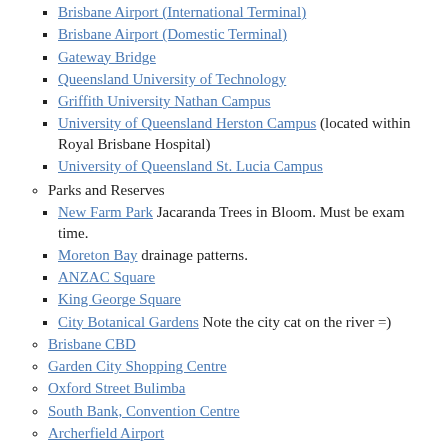Brisbane Airport (International Terminal)
Brisbane Airport (Domestic Terminal)
Gateway Bridge
Queensland University of Technology
Griffith University Nathan Campus
University of Queensland Herston Campus (located within Royal Brisbane Hospital)
University of Queensland St. Lucia Campus
Parks and Reserves
New Farm Park Jacaranda Trees in Bloom. Must be exam time.
Moreton Bay drainage patterns.
ANZAC Square
King George Square
City Botanical Gardens Note the city cat on the river =)
Brisbane CBD
Garden City Shopping Centre
Oxford Street Bulimba
South Bank, Convention Centre
Archerfield Airport
Ipswich
Target ranges at Greenbank Military Joint
Queensland Raceway
Willowbank Raceway (dragstrip) with cars!